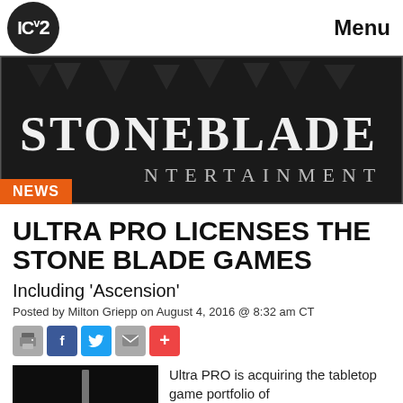ICv2 Menu
[Figure (photo): Stoneblade Entertainment logo on dark background with geometric triangle shapes. Orange NEWS badge in lower left.]
ULTRA PRO LICENSES THE STONE BLADE GAMES
Including 'Ascension'
Posted by Milton Griepp on August 4, 2016 @ 8:32 am CT
[Figure (infographic): Social sharing buttons: print, Facebook, Twitter, email, more]
[Figure (photo): Dark thumbnail image with sword/blade graphic]
Ultra PRO is acquiring the tabletop game portfolio of